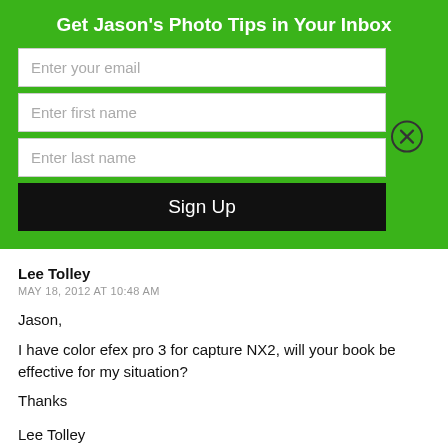Get Jason's Photo Tips in Your Inbox
[Figure (screenshot): Email signup form with fields for email, first name, last name, and a Sign Up button on a green background. A close (X) button is on the right side.]
Lee Tolley
MAY 18, 2012 AT 10:48 AM
Jason,
I have color efex pro 3 for capture NX2, will your book be effective for my situation?
Thanks

Lee Tolley